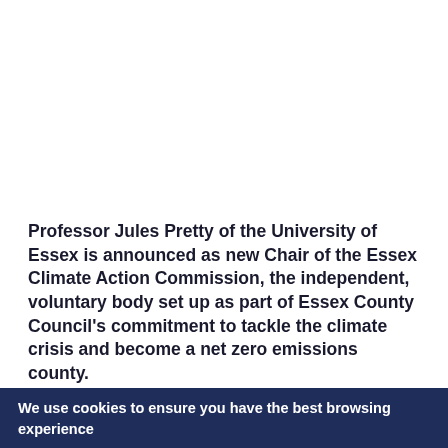Professor Jules Pretty of the University of Essex is announced as new Chair of the Essex Climate Action Commission, the independent, voluntary body set up as part of Essex County Council's commitment to tackle the climate crisis and become a net zero emissions county.
The announcement coincides with a further round of funding under the Green Homes Grant Local Authority Delivery Scheme.  Essex residents with combined
We use cookies to ensure you have the best browsing experience